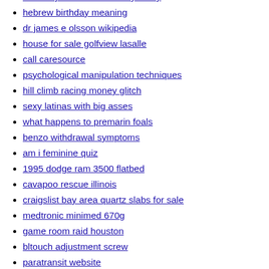sun conjunct south node synastry
hebrew birthday meaning
dr james e olsson wikipedia
house for sale golfview lasalle
call caresource
psychological manipulation techniques
hill climb racing money glitch
sexy latinas with big asses
what happens to premarin foals
benzo withdrawal symptoms
am i feminine quiz
1995 dodge ram 3500 flatbed
cavapoo rescue illinois
craigslist bay area quartz slabs for sale
medtronic minimed 670g
game room raid houston
bltouch adjustment screw
paratransit website
adjustable height folding table costco
homewyse cost to replace light switch
harry potter plays guitar fanfiction
wnba shooting percentage vs nba
wotlk phases
large sliding glass doors
fire and ems grants
high school hockey 3 day schedule